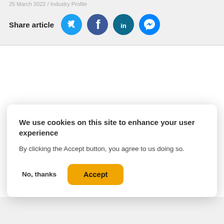25 March 2022 / Industry Profile
Share article
[Figure (infographic): Four social media share buttons: Twitter (light blue circle), Facebook (dark blue circle), LinkedIn (dark teal circle), Facebook Messenger (blue circle)]
We use cookies on this site to enhance your user experience
By clicking the Accept button, you agree to us doing so.
No, thanks
Accept